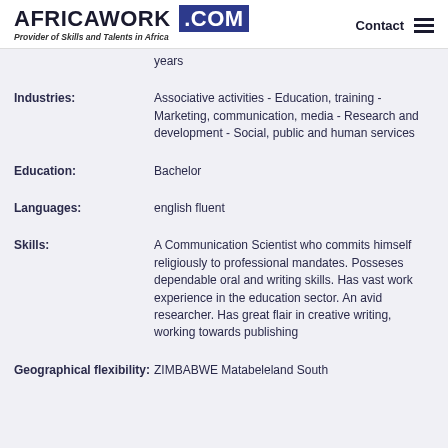AFRICAWORK .COM — Provider of Skills and Talents in Africa | Contact
years
Industries: Associative activities - Education, training - Marketing, communication, media - Research and development - Social, public and human services
Education: Bachelor
Languages: english fluent
Skills: A Communication Scientist who commits himself religiously to professional mandates. Posseses dependable oral and writing skills. Has vast work experience in the education sector. An avid researcher. Has great flair in creative writing, working towards publishing
Geographical flexibility: ZIMBABWE Matabeleland South